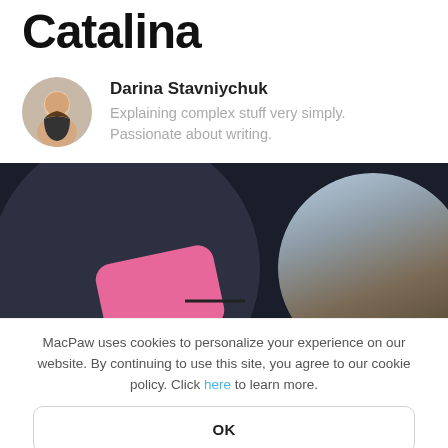Catalina
Darina Stavniychuk
Explaining complex stuff very simply. Passionate about writing.
[Figure (photo): Dark background with circular elements showing macOS Catalina wallpaper on the right and a pink card on a dark circle on the left]
MacPaw uses cookies to personalize your experience on our website. By continuing to use this site, you agree to our cookie policy. Click here to learn more.
OK